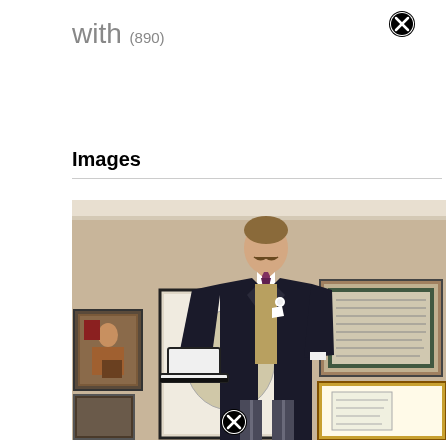with (890)
Images
[Figure (photo): A man dressed in formal morning suit attire — dark navy tailcoat, striped trousers, light waistcoat, purple tie, white pocket square, and white gloves — holding a white top hat. He has a moustache and is looking upward to the side. Behind him are several framed pictures on a beige/tan wall.]